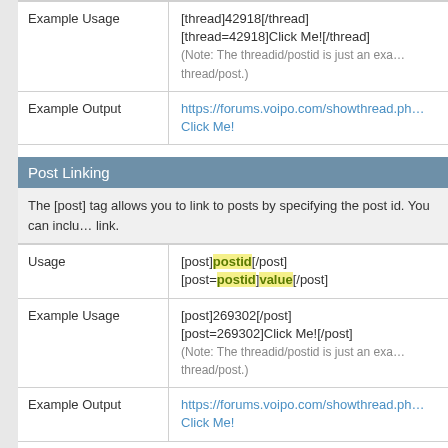| Example Usage | [thread]42918[/thread]
[thread=42918]Click Me![/thread]
(Note: The threadid/postid is just an example thread/post.) |
| Example Output | https://forums.voipo.com/showthread.php...
Click Me! |
Post Linking
The [post] tag allows you to link to posts by specifying the post id. You can include an optional parameter to set the 'value' of the link.
| Usage | [post]postid[/post]
[post=postid]value[/post] |
| Example Usage | [post]269302[/post]
[post=269302]Click Me![/post]
(Note: The threadid/postid is just an example thread/post.) |
| Example Output | https://forums.voipo.com/showthread.php...
Click Me! |
Bulleted Lists
The [list] tag allows you to create simple, bulleted lists without specifying an option. The list item is denoted by the [*] tag.